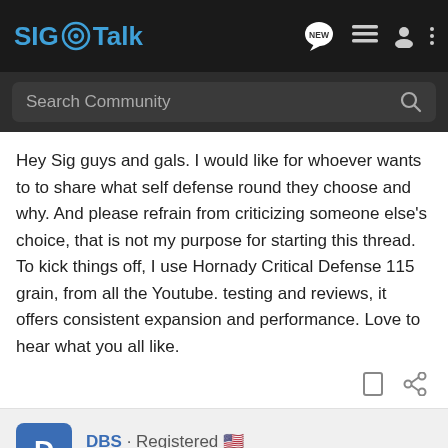SIG Talk
Hey Sig guys and gals. I would like for whoever wants to to share what self defense round they choose and why. And please refrain from criticizing someone else's choice, that is not my purpose for starting this thread. To kick things off, I use Hornady Critical Defense 115 grain, from all the Youtube. testing and reviews, it offers consistent expansion and performance. Love to hear what you all like.
DBS · Registered
Joined Jun 9, 2012 · 4,765 Posts
#2 · Mar 18, 2017